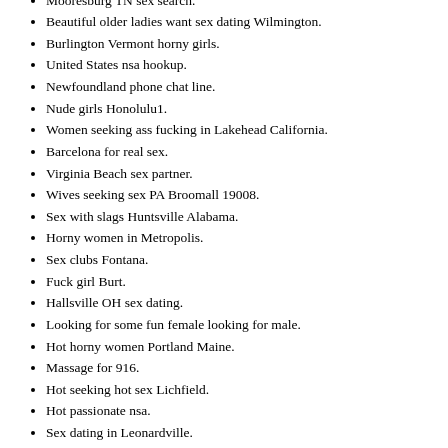Mooresburg TN sex search.
Beautiful older ladies want sex dating Wilmington.
Burlington Vermont horny girls.
United States nsa hookup.
Newfoundland phone chat line.
Nude girls Honolulu1.
Women seeking ass fucking in Lakehead California.
Barcelona for real sex.
Virginia Beach sex partner.
Wives seeking sex PA Broomall 19008.
Sex with slags Huntsville Alabama.
Horny women in Metropolis.
Sex clubs Fontana.
Fuck girl Burt.
Hallsville OH sex dating.
Looking for some fun female looking for male.
Hot horny women Portland Maine.
Massage for 916.
Hot seeking hot sex Lichfield.
Hot passionate nsa.
Sex dating in Leonardville.
Wife wants nsa Letona.
Sawyerville Alabama Fuck singles.
Swinger Personals in South Carolina.
Sex chat rooms in Fullerton.